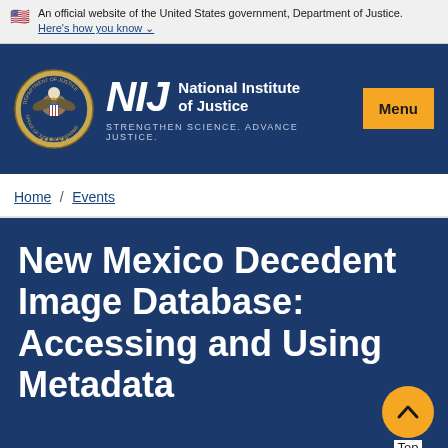An official website of the United States government, Department of Justice. Here's how you know ˅
[Figure (logo): NIJ National Institute of Justice header with DOJ seal, NIJ logo, tagline STRENGTHEN SCIENCE. ADVANCE JUSTICE., and Menu button]
Home / Events
New Mexico Decedent Image Database: Accessing and Using Metadata